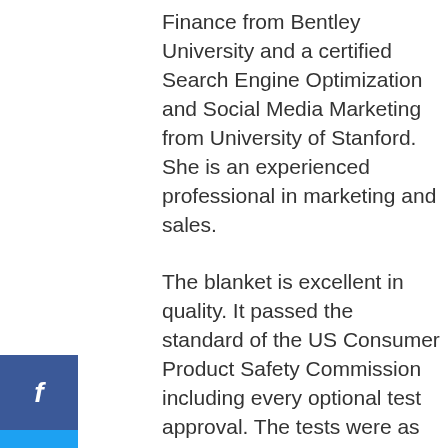Finance from Bentley University and a certified Search Engine Optimization and Social Media Marketing from University of Stanford. She is an experienced professional in marketing and sales.
The blanket is excellent in quality. It passed the standard of the US Consumer Product Safety Commission including every optional test approval. The tests were as follows: those for lead, phthalates, color fastness, flammability, thermal transmittance, sharp edges and points, and any suffocation hazards.
The fabric is 100% soft and cotton made. There is a two-way zipper for diapers. The blanket is made of a non-toxic poly pellet